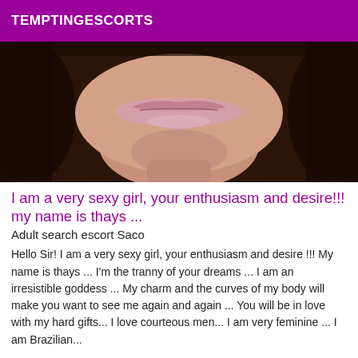TEMPTINGESCORTS
[Figure (photo): Close-up photo of a woman's face showing lips, chin, and neck with dark hair on the sides]
I am a very sexy girl, your enthusiasm and desire!!! my name is thays ...
Adult search escort Saco
Hello Sir! I am a very sexy girl, your enthusiasm and desire !!! My name is thays ... I'm the tranny of your dreams ... I am an irresistible goddess ... My charm and the curves of my body will make you want to see me again and again ... You will be in love with my hard gifts... I love courteous men... I am very feminine ... I am Brazilian...